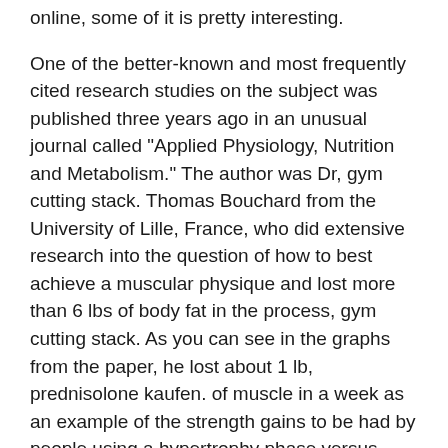online, some of it is pretty interesting.
One of the better-known and most frequently cited research studies on the subject was published three years ago in an unusual journal called "Applied Physiology, Nutrition and Metabolism." The author was Dr, gym cutting stack. Thomas Bouchard from the University of Lille, France, who did extensive research into the question of how to best achieve a muscular physique and lost more than 6 lbs of body fat in the process, gym cutting stack. As you can see in the graphs from the paper, he lost about 1 lb, prednisolone kaufen. of muscle in a week as an example of the strength gains to be had by people using a hypertrophy phase versus traditional weight training methods such as resistance training (reps):